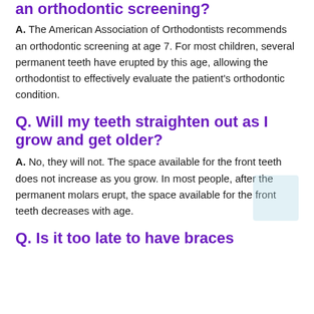an orthodontic screening?
A. The American Association of Orthodontists recommends an orthodontic screening at age 7. For most children, several permanent teeth have erupted by this age, allowing the orthodontist to effectively evaluate the patient's orthodontic condition.
Q. Will my teeth straighten out as I grow and get older?
A. No, they will not. The space available for the front teeth does not increase as you grow. In most people, after the permanent molars erupt, the space available for the front teeth decreases with age.
Q. Is it too late to have braces